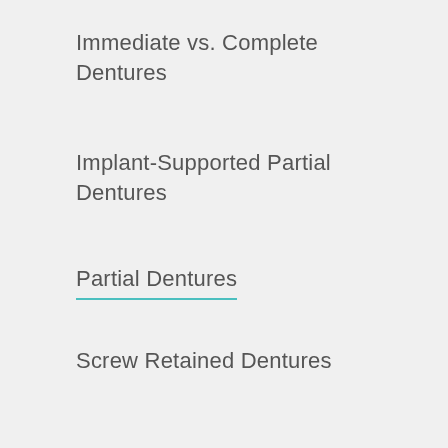Immediate vs. Complete Dentures
Implant-Supported Partial Dentures
Partial Dentures
Screw Retained Dentures